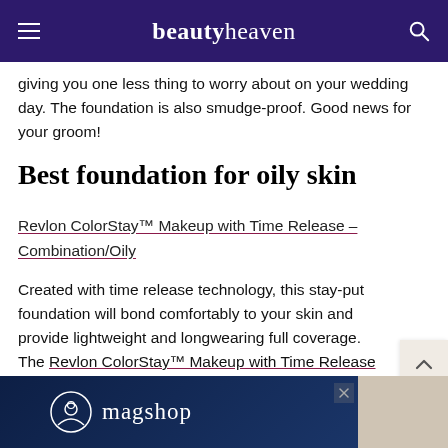beautyheaven
giving you one less thing to worry about on your wedding day. The foundation is also smudge-proof. Good news for your groom!
Best foundation for oily skin
Revlon ColorStay™ Makeup with Time Release – Combination/Oily
Created with time release technology, this stay-put foundation will bond comfortably to your skin and provide lightweight and longwearing full coverage. The Revlon ColorStay™ Makeup with Time Release – Combination/Oily foundation is also oil-free and provides a matte-finish, making it the perfect choice for an prone to experiencing an afternoon oil slick.
[Figure (other): magshop advertisement banner at the bottom of the page]